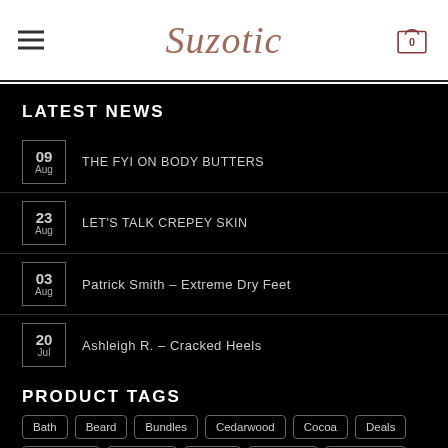Suzotic
LATEST NEWS
09 Aug - THE FYI ON BODY BUTTERS
23 Aug - LET'S TALK CREPEY SKIN
03 Aug - Patrick Smith – Extreme Dry Feet
20 Jul - Ashleigh R. – Cracked Heels
PRODUCT TAGS
Bath, Beard, Bundles, Cedarwood, Cocoa, Deals, Eucalyptus, Lavender, Mango, Patchouli, Peppermint